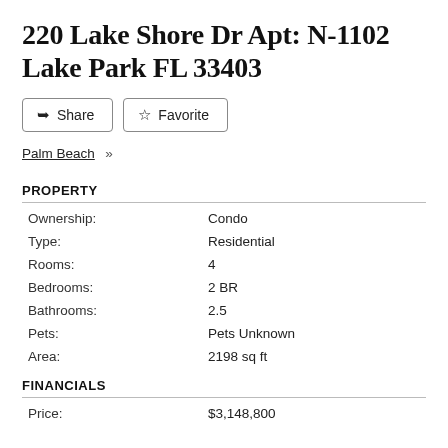220 Lake Shore Dr Apt: N-1102 Lake Park FL 33403
Share   Favorite
Palm Beach »
PROPERTY
| Field | Value |
| --- | --- |
| Ownership: | Condo |
| Type: | Residential |
| Rooms: | 4 |
| Bedrooms: | 2 BR |
| Bathrooms: | 2.5 |
| Pets: | Pets Unknown |
| Area: | 2198 sq ft |
FINANCIALS
| Field | Value |
| --- | --- |
| Price: | $3,148,800 |